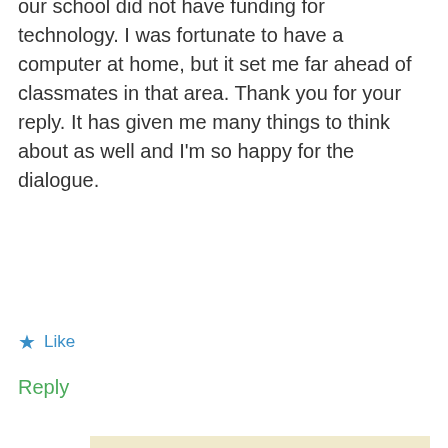our school did not have funding for technology. I was fortunate to have a computer at home, but it set me far ahead of classmates in that area. Thank you for your reply. It has given me many things to think about as well and I'm so happy for the dialogue.
★ Like
Reply
Jane   October 2, 2016 9:43 pm
[Figure (illustration): Yellow and white geometric avatar icon with diamond/rhombus pattern]
Well I don't think that getting a computer at an older age is much of an issue. I am a millenial and I have only once or twice touched a video game, and I don't regard myself as being